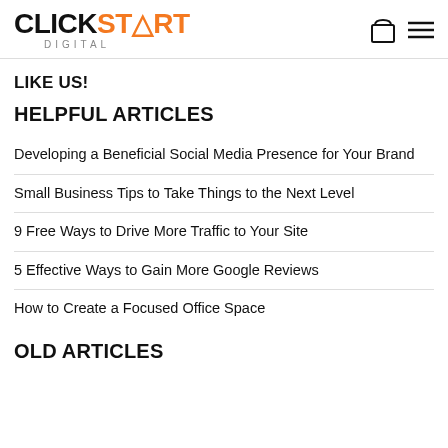CLICKSTART DIGITAL
LIKE US!
HELPFUL ARTICLES
Developing a Beneficial Social Media Presence for Your Brand
Small Business Tips to Take Things to the Next Level
9 Free Ways to Drive More Traffic to Your Site
5 Effective Ways to Gain More Google Reviews
How to Create a Focused Office Space
OLD ARTICLES